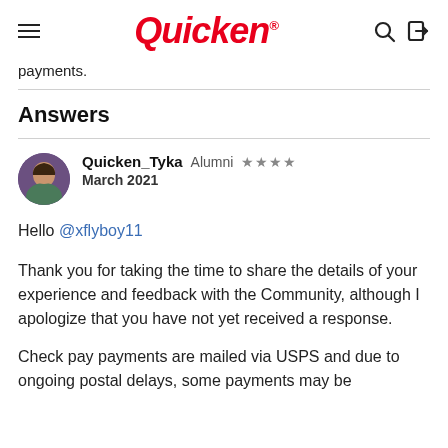Quicken
payments.
Answers
Quicken_Tyka  Alumni  ★★★★
March 2021
Hello @xflyboy11
Thank you for taking the time to share the details of your experience and feedback with the Community, although I apologize that you have not yet received a response.
Check pay payments are mailed via USPS and due to ongoing postal delays, some payments may be